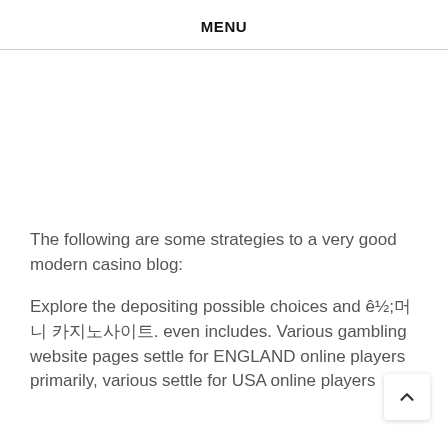MENU
The following are some strategies to a very good modern casino blog:
Explore the depositing possible choices and 꽁머 니 카지노사이트. even includes. Various gambling website pages settle for ENGLAND online players primarily, various settle for USA online players